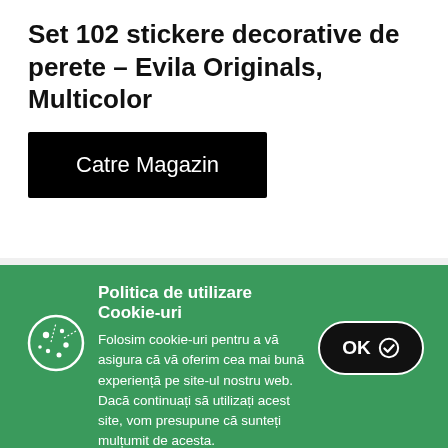Set 102 stickere decorative de perete – Evila Originals, Multicolor
[Figure (screenshot): Black button with white text 'Catre Magazin']
[Figure (photo): Partial view of a pink circular decorative sticker on a light grey background]
Politica de utilizare Cookie-uri
Folosim cookie-uri pentru a vă asigura că vă oferim cea mai bună experiență pe site-ul nostru web. Dacă continuați să utilizați acest site, vom presupune că sunteți mulțumit de acesta.
Vezi mai mult. »